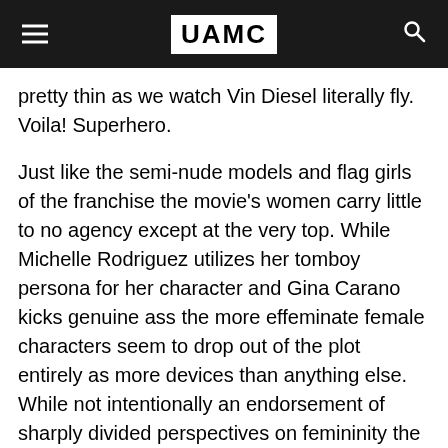UAMC
pretty thin as we watch Vin Diesel literally fly. Voila! Superhero.
Just like the semi-nude models and flag girls of the franchise the movie's women carry little to no agency except at the very top. While Michelle Rodriguez utilizes her tomboy persona for her character and Gina Carano kicks genuine ass the more effeminate female characters seem to drop out of the plot entirely as more devices than anything else. While not intentionally an endorsement of sharply divided perspectives on femininity the movie wastes a chance at providing the full package by losing Gal Gadot.
At the beginning of this franchise Gadot was introduced as